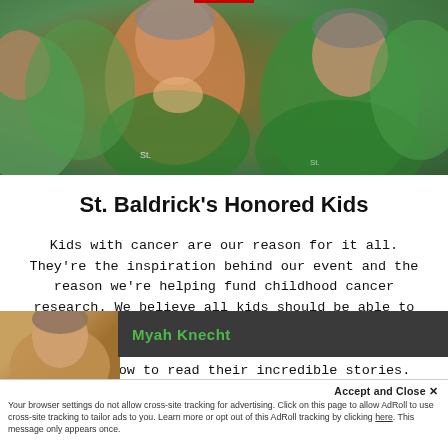[Figure (photo): Photo of crowd of people wearing green St. Baldrick's shirts, smiling at an event]
St. Baldrick’s Honored Kids
Kids with cancer are our reason for it all. They’re the inspiration behind our event and the reason we’re helping fund childhood cancer research. We believe all kids should be able to grow up and turn their dreams into realities. Join our event or make a donation, and click the photos below to read their incredible stories.
[Figure (photo): Partial thumbnail photo of a person, with a dark bar showing the name Myah Knecht in green text]
Accept and Close ×
Your browser settings do not allow cross-site tracking for advertising. Click on this page to allow AdRoll to use cross-site tracking to tailor ads to you. Learn more or opt out of this AdRoll tracking by clicking here. This message only appears once.